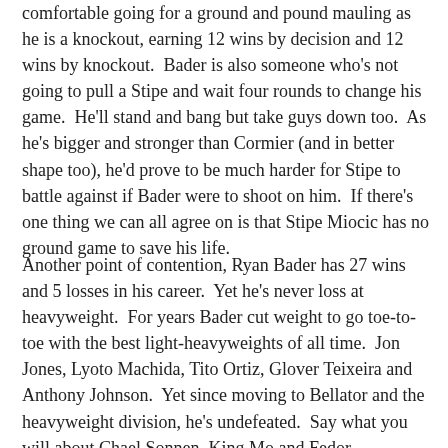comfortable going for a ground and pound mauling as he is a knockout, earning 12 wins by decision and 12 wins by knockout.  Bader is also someone who's not going to pull a Stipe and wait four rounds to change his game.  He'll stand and bang but take guys down too.  As he's bigger and stronger than Cormier (and in better shape too), he'd prove to be much harder for Stipe to battle against if Bader were to shoot on him.  If there's one thing we can all agree on is that Stipe Miocic has no ground game to save his life.
Another point of contention, Ryan Bader has 27 wins and 5 losses in his career.  Yet he's never loss at heavyweight.  For years Bader cut weight to go toe-to-toe with the best light-heavyweights of all time.  Jon Jones, Lyoto Machida, Tito Ortiz, Glover Teixeira and Anthony Johnson.  Yet since moving to Bellator and the heavyweight division, he's undefeated.  Say what you will about Chael Sonnen, King Mo and Fedor Emelianenko but that's no one to sneeze at.